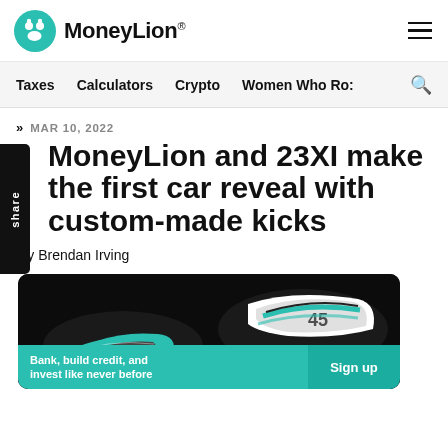MoneyLion
Taxes  Calculators  Crypto  Women Who Ro:
MAR 10, 2022
MoneyLion and 23XI make the first car reveal with custom-made kicks
By Brendan Irving
[Figure (photo): Custom-made sneakers/kicks with teal and black coloring, close-up photography on dark background, with a CTA banner overlay reading 'Bank, build credit, and invest like never before' and 'Sign up' button]